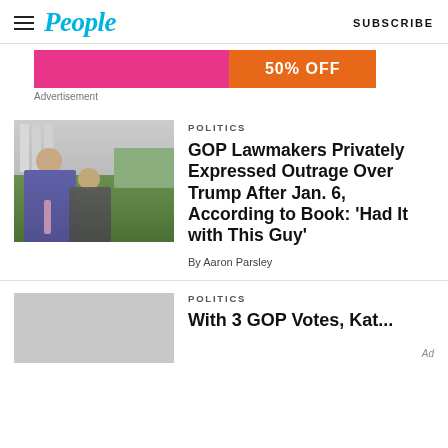People | SUBSCRIBE
[Figure (other): Advertisement banner with pink and orange sections showing '50% OFF']
Advertisement
[Figure (photo): Two men in suits, presumed GOP lawmakers, standing outside a building with columns]
POLITICS
GOP Lawmakers Privately Expressed Outrage Over Trump After Jan. 6, According to Book: ‘Had It with This Guy’
By Aaron Parsley
POLITICS
With 3 GOP Votes, Kat...